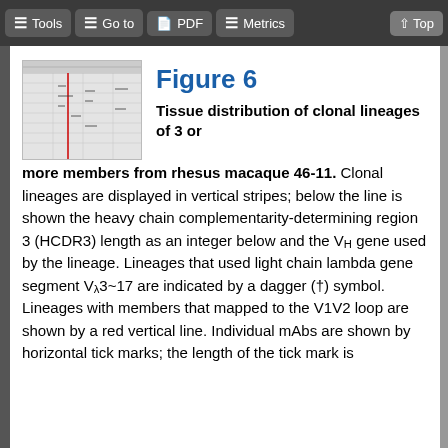Tools | Go to | PDF | Metrics | Top
[Figure (table-as-image): Thumbnail image of Figure 6 showing a data table with tissue distribution of clonal lineages]
Figure 6
Tissue distribution of clonal lineages of 3 or more members from rhesus macaque 46-11. Clonal lineages are displayed in vertical stripes; below the line is shown the heavy chain complementarity-determining region 3 (HCDR3) length as an integer below and the VH gene used by the lineage. Lineages that used light chain lambda gene segment Vλ3~17 are indicated by a dagger (†) symbol. Lineages with members that mapped to the V1V2 loop are shown by a red vertical line. Individual mAbs are shown by horizontal tick marks; the length of the tick mark is